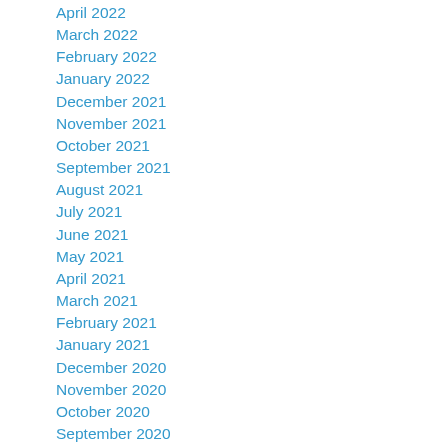April 2022
March 2022
February 2022
January 2022
December 2021
November 2021
October 2021
September 2021
August 2021
July 2021
June 2021
May 2021
April 2021
March 2021
February 2021
January 2021
December 2020
November 2020
October 2020
September 2020
August 2020
July 2020
June 2020
May 2020
April 2020